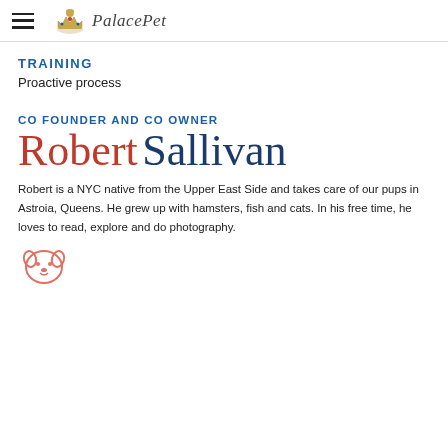Palace Pet (logo with hamburger menu)
TRAINING
Proactive process
CO FOUNDER AND CO OWNER
Robert Sallivan
Robert is a NYC native from the Upper East Side and takes care of our pups in Astroia, Queens. He grew up with hamsters, fish and cats. In his free time, he loves to read, explore and do photography.
[Figure (illustration): Dog icon/illustration in coral/orange outline style]